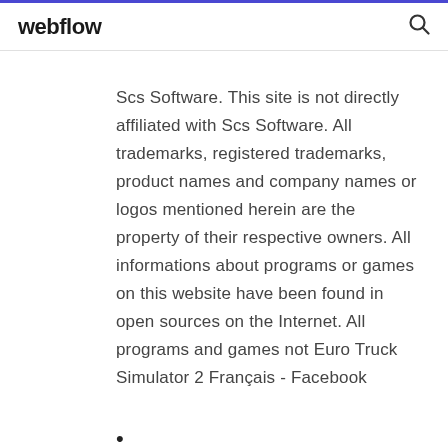webflow
Scs Software. This site is not directly affiliated with Scs Software. All trademarks, registered trademarks, product names and company names or logos mentioned herein are the property of their respective owners. All informations about programs or games on this website have been found in open sources on the Internet. All programs and games not Euro Truck Simulator 2 Français - Facebook